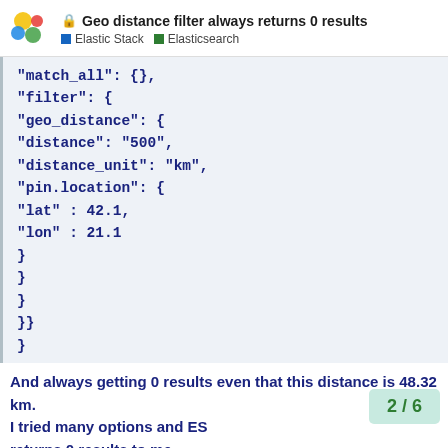🔒 Geo distance filter always returns 0 results | Elastic Stack | Elasticsearch
"match_all": {},
"filter": {
"geo_distance": {
"distance": "500",
"distance_unit": "km",
"pin.location": {
"lat" : 42.1,
"lon" : 21.1
}
}
}
}}
}
And always getting 0 results even that this distance is 48.32 km.
I tried many options and ES returns 0 results to me.
2 / 6